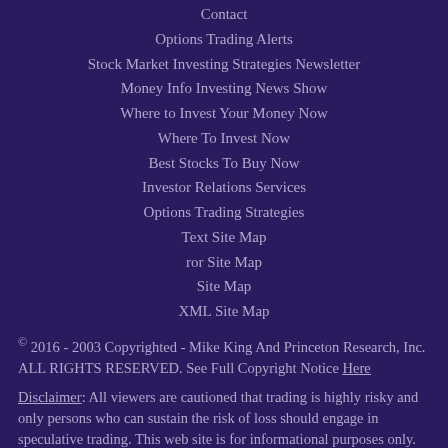Contact
Options Trading Alerts
Stock Market Investing Strategies Newsletter
Money Info Investing News Show
Where to Invest Your Money Now
Where To Invest Now
Best Stocks To Buy Now
Investor Relations Services
Options Trading Strategies
Text Site Map
ror Site Map
Site Map
XML Site Map
© 2016 - 2003 Copyrighted - Mike King And Princeton Research, Inc. ALL RIGHTS RESERVED. See Full Copyright Notice Here
Disclaimer: All viewers are cautioned that trading is highly risky and only persons who can sustain the risk of loss should engage in speculative trading. This web site is for informational purposes only. No part of this site is to be